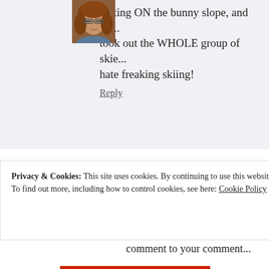getting ON the bunny slope, and go...took out the WHOLE group of skie...hate freaking skiing!
Reply
[Figure (photo): Avatar photo of Julie the Workaholic: woman with curly reddish-brown hair and glasses]
Julie the Workaholic says: December 3, 2011 at 4:35 am
Of course, NONE of this mak... you know....There was NO s... skis...AND I was wearing ba... comment to your comment...
Privacy & Cookies: This site uses cookies. By continuing to use this website, you agree to their use. To find out more, including how to control cookies, see here: Cookie Policy
Close and accept